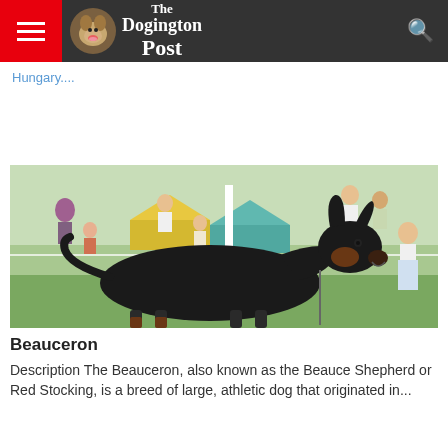The Dogington Post
Hungary....
[Figure (photo): A large black and tan Beauceron dog standing in profile at what appears to be an outdoor dog show, with a crowd of people and tents visible in the background]
Beauceron
Description The Beauceron, also known as the Beauce Shepherd or Red Stocking, is a breed of large, athletic dog that originated in...